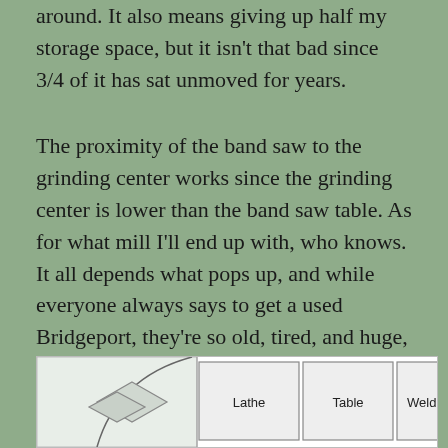around. It also means giving up half my storage space, but it isn't that bad since 3/4 of it has sat unmoved for years.
The proximity of the band saw to the grinding center works since the grinding center is lower than the band saw table. As for what mill I'll end up with, who knows. It all depends what pops up, and while everyone always says to get a used Bridgeport, they're so old, tired, and huge, that getting one up and running could be a long and expensive endeavor, one I'm not really wanting to get into now. The reality is that it'll probably be a smaller bench unit, but we'll see.
[Figure (engineering-diagram): Floor plan / workshop layout diagram showing partially visible shapes including a diagonal element and labeled boxes for Lathe, Table, and Welder]